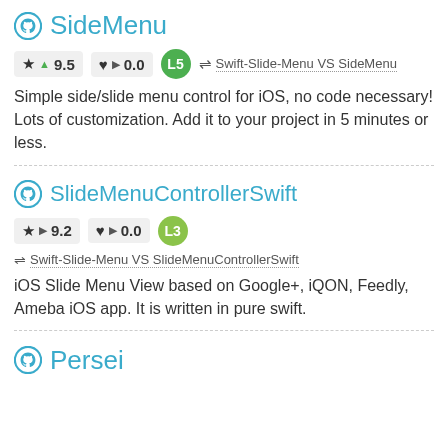SideMenu
★ ▲ 9.5   ♥ ▶ 0.0   L5   ⇌ Swift-Slide-Menu VS SideMenu
Simple side/slide menu control for iOS, no code necessary! Lots of customization. Add it to your project in 5 minutes or less.
SlideMenuControllerSwift
★ ▶ 9.2   ♥ ▶ 0.0   L3
⇌ Swift-Slide-Menu VS SlideMenuControllerSwift
iOS Slide Menu View based on Google+, iQON, Feedly, Ameba iOS app. It is written in pure swift.
Persei